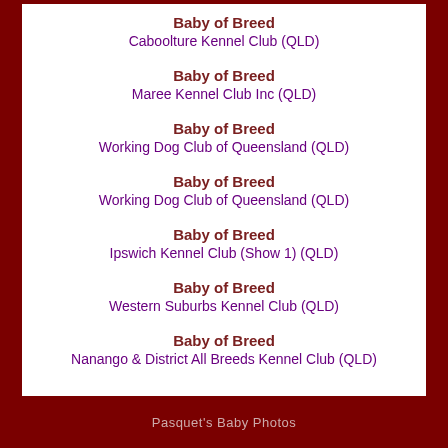Baby of Breed
Caboolture Kennel Club (QLD)
Baby of Breed
Maree Kennel Club Inc (QLD)
Baby of Breed
Working Dog Club of Queensland (QLD)
Baby of Breed
Working Dog Club of Queensland (QLD)
Baby of Breed
Ipswich Kennel Club (Show 1) (QLD)
Baby of Breed
Western Suburbs Kennel Club (QLD)
Baby of Breed
Nanango & District All Breeds Kennel Club (QLD)
Pasquet's Baby Photos